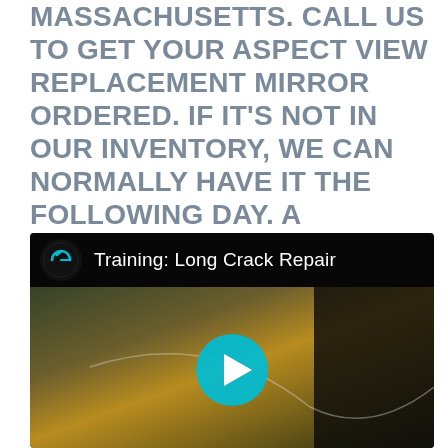MASSACHUSETTS. CALL US TO GET YOUR ASPECT VIEW REPLACEMENT MIRROR ORDERED. IF IT'S NOT IN OUR INVENTORY, WE CAN NORMALLY HAVE IT THE FOLLOWING DAY. A SMALLER REPAIRED AREA IS ALSO AESTHETICALLY PLEASING AND MIGHT BLEND IN RATHER MORE SMOOTHLY INTO THE THE REST OF THE GLASS. WE DEAL WITH MANY OTHER CAR REPAIRS LIKE BRAKES, ELECTRICAL, AND ALIGNMENTS. SIMPLY TAKE A CLOSE-UP PICTURE OF THE BROKEN GLASS AND ONE OF THE WHOLE GLASS PANEL.
[Figure (screenshot): Video thumbnail for 'Training: Long Crack Repair' with a logo icon on the left, title text, and a play button over a blurred outdoor background scene.]